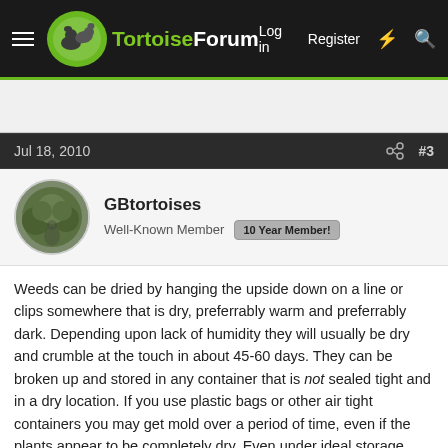TortoiseForum  Log in  Register
Jul 18, 2010  #3
GBtortoises
Well-Known Member  10 Year Member!
Weeds can be dried by hanging the upside down on a line or clips somewhere that is dry, preferrably warm and preferrably dark. Depending upon lack of humidity they will usually be dry and crumble at the touch in about 45-60 days. They can be broken up and stored in any container that is not sealed tight and in a dry location. If you use plastic bags or other air tight containers you may get mold over a period of time, even if the plants appear to be completely dry. Even under ideal storage conditions it's still always good to stir the contents up every few weeks so that moisture doesn't concentrate at the bottom or middle of the storage container. You can then crumble up a handful of weeds